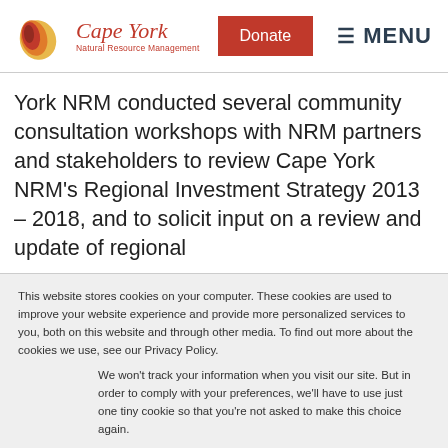Cape York Natural Resource Management — Donate — MENU
York NRM conducted several community consultation workshops with NRM partners and stakeholders to review Cape York NRM's Regional Investment Strategy 2013 – 2018, and to solicit input on a review and update of regional
This website stores cookies on your computer. These cookies are used to improve your website experience and provide more personalized services to you, both on this website and through other media. To find out more about the cookies we use, see our Privacy Policy.
We won't track your information when you visit our site. But in order to comply with your preferences, we'll have to use just one tiny cookie so that you're not asked to make this choice again.
Accept
Decline